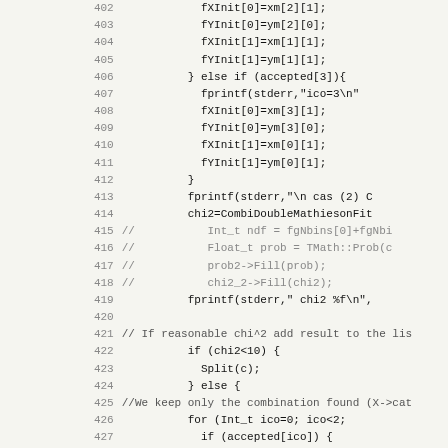Source code listing, lines 402–434, showing C++ code with line numbers, commit references, and commented-out lines.